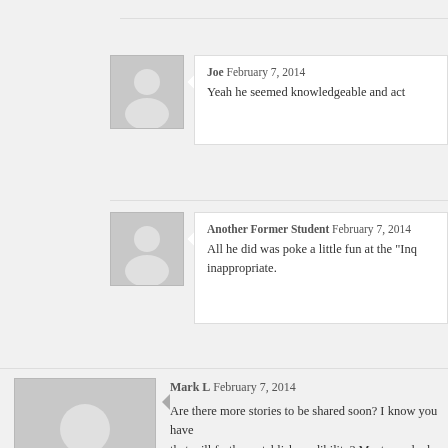Joe February 7, 2014
Yeah he seemed knowledgeable and act
Another Former Student February 7, 2014
All he did was poke a little fun at the "Inq inappropriate.
Mark L February 7, 2014
Are there more stories to be shared soon? I know you have that will further establish credibility? Most people do not ha time, and I believe you will make a greater impact towards time. We see all of the comments questioning these girls st reputation of these victims, just release what you have and see people like Meg and Charlotte being treated like lying t produce enough evidence that they can no longer refute its